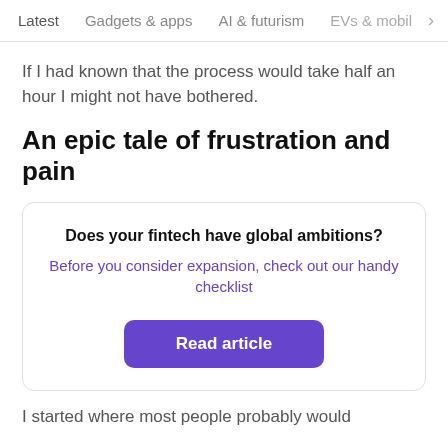Latest   Gadgets & apps   AI & futurism   EVs & mobil >
If I had known that the process would take half an hour I might not have bothered.
An epic tale of frustration and pain
[Figure (other): Advertisement card with title 'Does your fintech have global ambitions?', subtitle link 'Before you consider expansion, check out our handy checklist', and a purple 'Read article' button]
I started where most people probably would